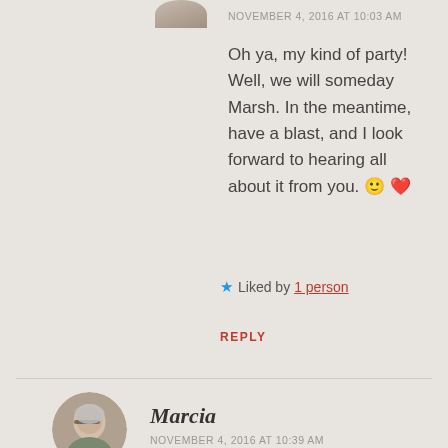NOVEMBER 4, 2016 AT 10:03 AM
Oh ya, my kind of party! Well, we will someday Marsh. In the meantime, have a blast, and I look forward to hearing all about it from you. 🙂 ❤
★ Liked by 1 person
REPLY
[Figure (photo): Circular profile photo of commenter Marcia, an older woman with gray hair and glasses]
Marcia
NOVEMBER 4, 2016 AT 10:39 AM